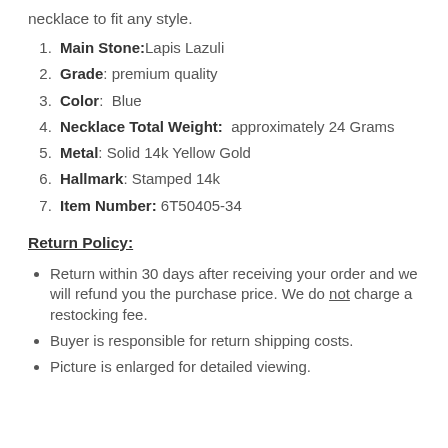necklace to fit any style.
Main Stone: Lapis Lazuli
Grade: premium quality
Color: Blue
Necklace Total Weight: approximately 24 Grams
Metal: Solid 14k Yellow Gold
Hallmark: Stamped 14k
Item Number: 6T50405-34
Return Policy:
Return within 30 days after receiving your order and we will refund you the purchase price. We do not charge a restocking fee.
Buyer is responsible for return shipping costs.
Picture is enlarged for detailed viewing.